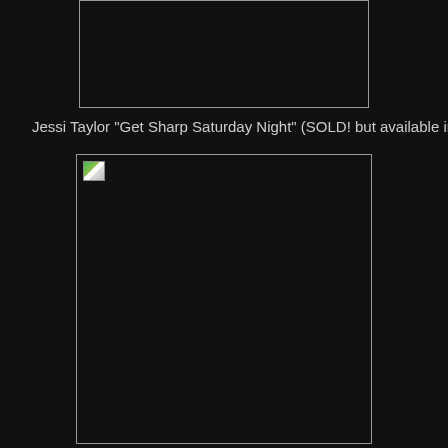[Figure (photo): Top image placeholder box, mostly dark/black, with a white border outline]
Jessi Taylor "Get Sharp Saturday Night" (SOLD! but available in prints)
[Figure (photo): Bottom image placeholder box, mostly dark/black, with a white border outline and broken image icon in top-left corner]